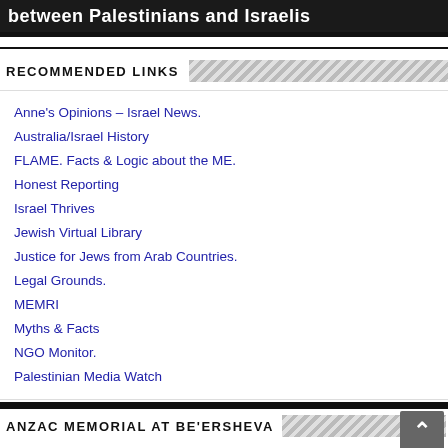[Figure (other): Dark banner with white bold text reading 'between Palestinians and Israelis']
RECOMMENDED LINKS
Anne's Opinions – Israel News.
Australia/Israel History
FLAME. Facts & Logic about the ME.
Honest Reporting
Israel Thrives
Jewish Virtual Library
Justice for Jews from Arab Countries.
Legal Grounds.
MEMRI
Myths & Facts
NGO Monitor.
Palestinian Media Watch
ANZAC MEMORIAL AT BE'ERSHEVA